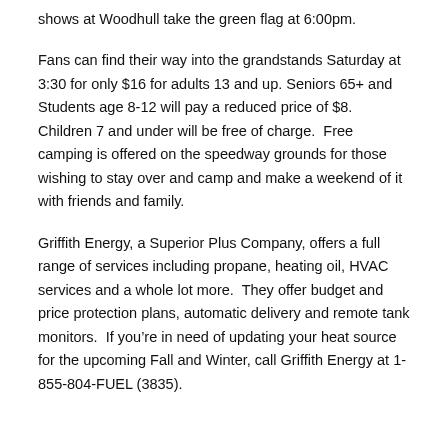shows at Woodhull take the green flag at 6:00pm.
Fans can find their way into the grandstands Saturday at 3:30 for only $16 for adults 13 and up. Seniors 65+ and Students age 8-12 will pay a reduced price of $8.  Children 7 and under will be free of charge.  Free camping is offered on the speedway grounds for those wishing to stay over and camp and make a weekend of it with friends and family.
Griffith Energy, a Superior Plus Company, offers a full range of services including propane, heating oil, HVAC services and a whole lot more.  They offer budget and price protection plans, automatic delivery and remote tank monitors.  If you’re in need of updating your heat source for the upcoming Fall and Winter, call Griffith Energy at 1-855-804-FUEL (3835).